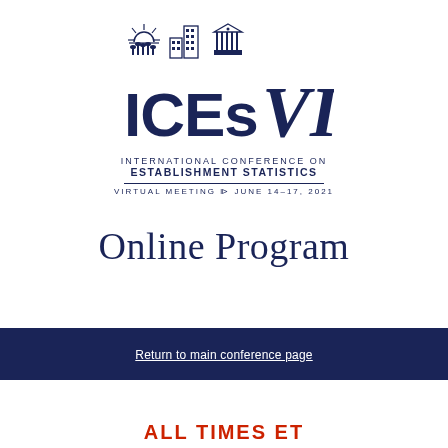[Figure (logo): ICES VI logo with illustrated icons (sun/crops, buildings, classical temple) above large letters 'ICEs VI' in navy blue]
INTERNATIONAL CONFERENCE ON
ESTABLISHMENT STATISTICS
VIRTUAL MEETING • JUNE 14–17, 2021
Online Program
Return to main conference page
All Times ET